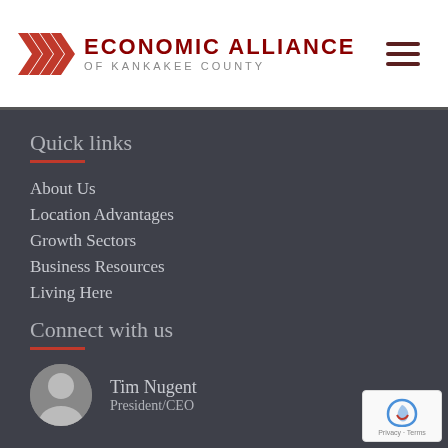ECONOMIC ALLIANCE OF KANKAKEE COUNTY
Quick links
About Us
Location Advantages
Growth Sectors
Business Resources
Living Here
Connect with us
Tim Nugent
President/CEO